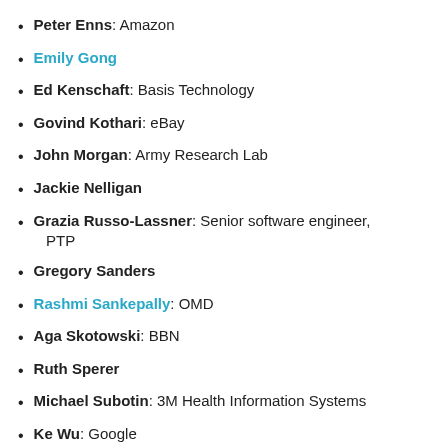Peter Enns: Amazon
Emily Gong
Ed Kenschaft: Basis Technology
Govind Kothari: eBay
John Morgan: Army Research Lab
Jackie Nelligan
Grazia Russo-Lassner: Senior software engineer, PTP
Gregory Sanders
Rashmi Sankepally: OMD
Aga Skotowski: BBN
Ruth Sperer
Michael Subotin: 3M Health Information Systems
Ke Wu: Google